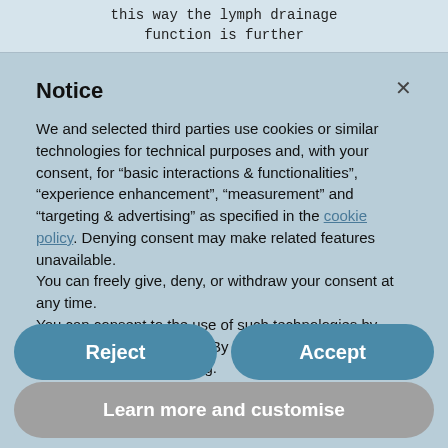this way the lymph drainage function is further
Notice
We and selected third parties use cookies or similar technologies for technical purposes and, with your consent, for “basic interactions & functionalities”, “experience enhancement”, “measurement” and “targeting & advertising” as specified in the cookie policy. Denying consent may make related features unavailable.
You can freely give, deny, or withdraw your consent at any time.
You can consent to the use of such technologies by using the “Accept” button. By closing this notice, you continue without accepting.
Reject
Accept
Learn more and customise